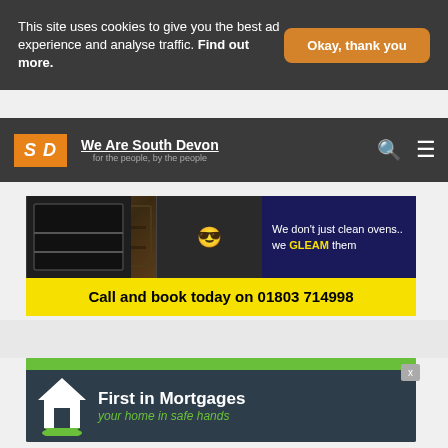This site uses cookies to give you the best ad experience and analyse traffic. Find out more.
Okay, thank you
[Figure (logo): We Are South Devon website logo with SD initials and tagline 'for the people, by the people']
[Figure (infographic): Oven cleaning advertisement: before/after oven photos with emojis, dark blue panel reading 'We don't just clean ovens.. we GLEAM them', yellow bar reading 'Call and book today on 01803 714998']
[Figure (infographic): First in Mortgages advertisement with green bar, dark background, house icon, text 'First in Mortgages - your home in safe hands']